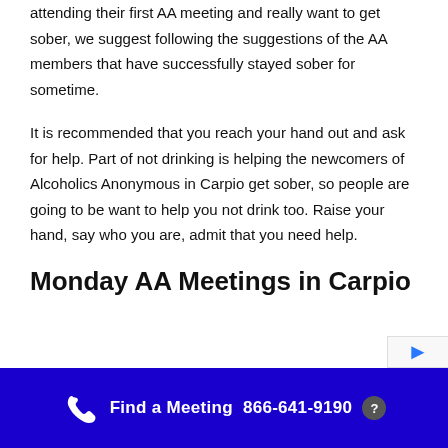attending their first AA meeting and really want to get sober, we suggest following the suggestions of the AA members that have successfully stayed sober for sometime.
It is recommended that you reach your hand out and ask for help. Part of not drinking is helping the newcomers of Alcoholics Anonymous in Carpio get sober, so people are going to be want to help you not drink too. Raise your hand, say who you are, admit that you need help.
Monday AA Meetings in Carpio
Find a Meeting  866-641-9190